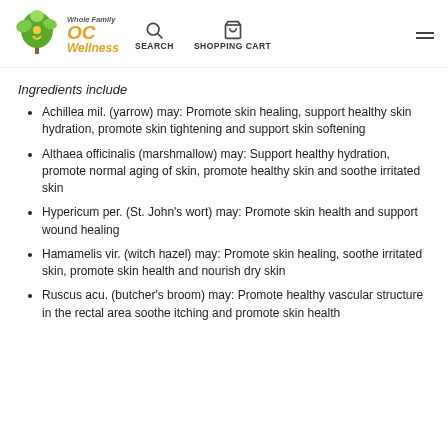OC Whole Family Wellness | SEARCH | SHOPPING CART
Ingredients include
Achillea mil. (yarrow) may: Promote skin healing, support healthy skin hydration, promote skin tightening and support skin softening
Althaea officinalis (marshmallow) may: Support healthy hydration, promote normal aging of skin, promote healthy skin and soothe irritated skin
Hypericum per. (St. John's wort) may: Promote skin health and support wound healing
Hamamelis vir. (witch hazel) may: Promote skin healing, soothe irritated skin, promote skin health and nourish dry skin
Ruscus acu. (butcher's broom) may: Promote healthy vascular structure in the rectal area soothe itching and promote skin health